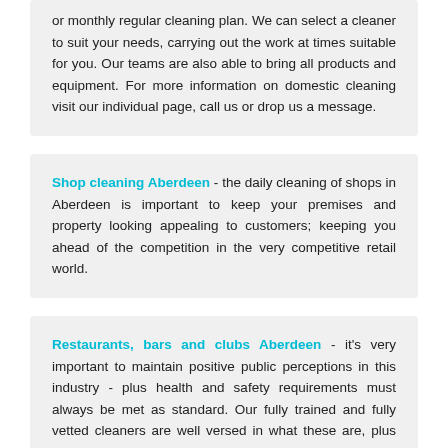or monthly regular cleaning plan. We can select a cleaner to suit your needs, carrying out the work at times suitable for you. Our teams are also able to bring all products and equipment. For more information on domestic cleaning visit our individual page, call us or drop us a message.
Shop cleaning Aberdeen - the daily cleaning of shops in Aberdeen is important to keep your premises and property looking appealing to customers; keeping you ahead of the competition in the very competitive retail world.
Restaurants, bars and clubs Aberdeen - it's very important to maintain positive public perceptions in this industry - plus health and safety requirements must always be met as standard. Our fully trained and fully vetted cleaners are well versed in what these are, plus how to keep your premises looking amazing. Our cleaners work around the clock (at dedicated times to suit your business and property needs) delivering top quality results every day for a range of clients.